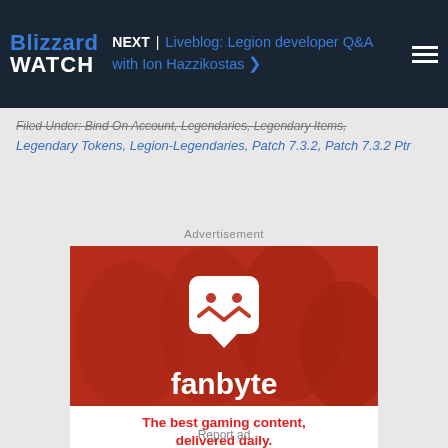Blizzard Watch — NEXT | Liveblog: Legion developer Q&A with Ion Hazzikostas
Filed Under: Bind on Account, Legendaries, Legendary Items, Legendary Tokens, Legion-Legendaries, Patch 7.3.2, Patch 7.3.2 Ptr
Advertisement
[Figure (photo): Fanbyte advertisement showing four people playing games with a red overlay, fanbyte logo, and tagline 'The best gaming content, delivered daily.']
Report ad